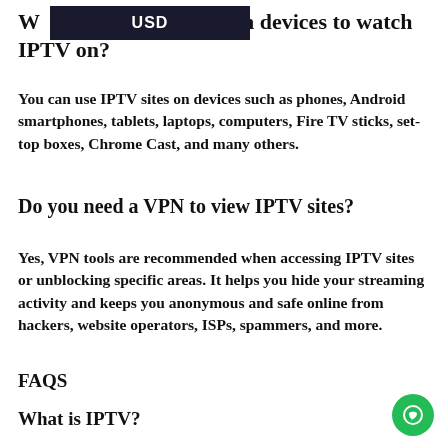W[USD]h devices to watch IPTV on?
You can use IPTV sites on devices such as phones, Android smartphones, tablets, laptops, computers, Fire TV sticks, set-top boxes, Chrome Cast, and many others.
Do you need a VPN to view IPTV sites?
Yes, VPN tools are recommended when accessing IPTV sites or unblocking specific areas. It helps you hide your streaming activity and keeps you anonymous and safe online from hackers, website operators, ISPs, spammers, and more.
FAQS
What is IPTV?